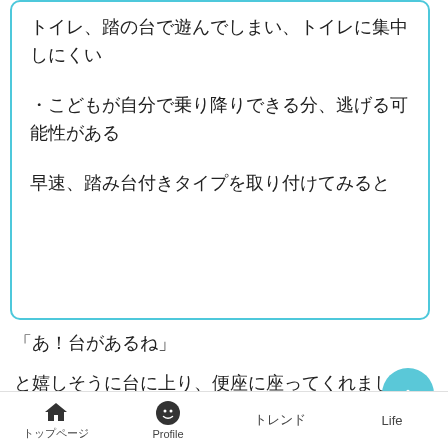トイレ、踏の台で遊んでしまい、トイレに集中しにくい
・こどもが自分で乗り降りできる分、逃げる可能性がある
早速、踏み台付きタイプを取り付けてみると
「あ！台があるね」
と嬉しそうに台に上り、便座に座ってくれました。
<踏み台があることで意欲が増したのか、トイレで用を
トップページ　　Profile　　トレンド　　Life